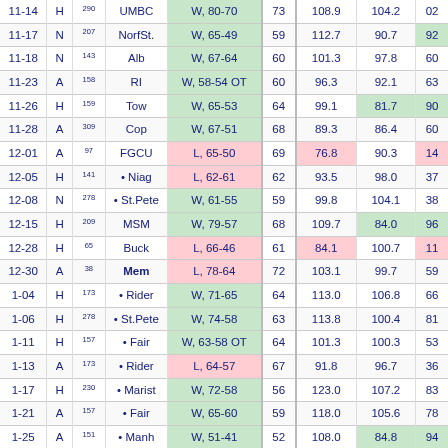| Date | H/A/N | Rank | Opp | Result | Pace | ORtg | DRtg | Last |
| --- | --- | --- | --- | --- | --- | --- | --- | --- |
| 11-14 | H | 290 | UMBC | W, 80-70 | 73 | 108.9 | 104.2 | 02 |
| 11-17 | N | 207 | NorfSt. | W, 65-49 | 59 | 112.7 | 90.7 | 92 |
| 11-18 | N | 143 | Alb | W, 67-64 | 60 | 101.3 | 97.8 | 60 |
| 11-23 | A | 158 | RI | W, 58-54 OT | 60 | 96.3 | 92.1 | 63 |
| 11-26 | H | 159 | Tow | W, 65-53 | 64 | 99.1 | 81.7 | 90 |
| 11-28 | A | 309 | Cop | W, 67-51 | 68 | 89.3 | 86.4 | 60 |
| 12-01 | A | 97 | FGCU | L, 65-50 | 69 | 76.8 | 90.3 | 14 |
| 12-05 | H | 141 | • Niag | L, 62-61 | 62 | 93.5 | 98.0 | 37 |
| 12-08 | N | 278 | • St.Pete | W, 61-55 | 59 | 99.8 | 104.1 | 38 |
| 12-15 | H | 209 | MSM | W, 79-57 | 68 | 109.7 | 84.0 | 96 |
| 12-28 | H | 65 | Buck | L, 66-46 | 61 | 84.1 | 100.7 | 11 |
| 12-30 | A | 38 | Mem | L, 78-64 | 72 | 103.1 | 99.7 | 59 |
| 1-04 | H | 173 | • Rider | W, 71-65 | 64 | 113.0 | 106.8 | 66 |
| 1-06 | H | 278 | • St.Pete | W, 74-58 | 63 | 113.8 | 100.4 | 81 |
| 1-11 | H | 157 | • Fair | W, 63-58 OT | 64 | 101.3 | 100.3 | 53 |
| 1-13 | A | 173 | • Rider | L, 64-57 | 67 | 91.8 | 96.7 | 36 |
| 1-17 | H | 230 | • Marist | W, 72-58 | 56 | 123.0 | 107.2 | 83 |
| 1-21 | A | 157 | • Fair | W, 65-60 | 59 | 118.0 | 105.6 | 78 |
| 1-25 | A | 151 | • Manh | W, 51-41 | 52 | 108.0 | 84.8 | 94 |
| 1-27 | H | 96 | • Iona | L, 79-71 | 67 | 98.7 | 108.9 | 25 |
| 1-31 | A | 119 | • Can | L, 91-79 | 66 | 114.7 | 127.8 | 22 |
| 2-03 | A | 141 | • Niag | W, 88-87 3OT | 67 | 126.3 | 89.8 | 60 |